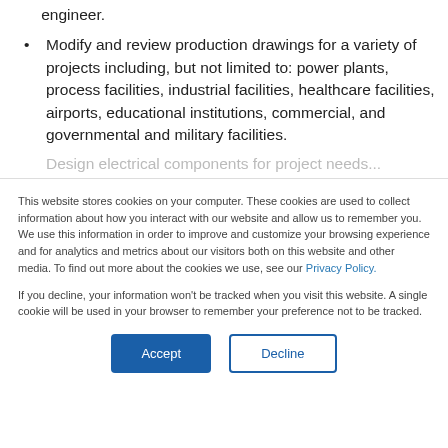engineer.
Modify and review production drawings for a variety of projects including, but not limited to: power plants, process facilities, industrial facilities, healthcare facilities, airports, educational institutions, commercial, and governmental and military facilities.
Design electrical components for project needs...
This website stores cookies on your computer. These cookies are used to collect information about how you interact with our website and allow us to remember you. We use this information in order to improve and customize your browsing experience and for analytics and metrics about our visitors both on this website and other media. To find out more about the cookies we use, see our Privacy Policy.
If you decline, your information won't be tracked when you visit this website. A single cookie will be used in your browser to remember your preference not to be tracked.